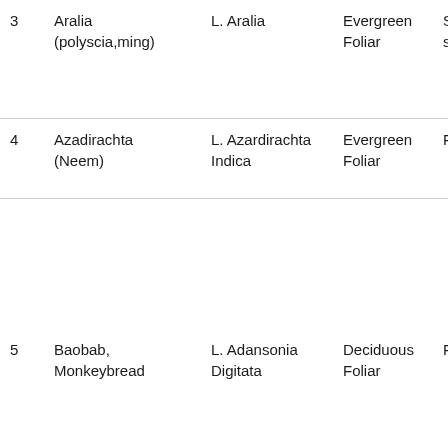| # | Common Name | Latin Name | Type | Light | Notes |
| --- | --- | --- | --- | --- | --- |
| 3 | Aralia (polyscia,ming) | L. Aralia | Evergreen Foliar | Semi-shade | a g c |
| 4 | Azadirachta (Neem) | L. Azardirachta Indica | Evergreen Foliar | Full sun | r m |
| 5 | Baobab, Monkeybread | L. Adansonia Digitata | Deciduous Foliar | Full sun | b |